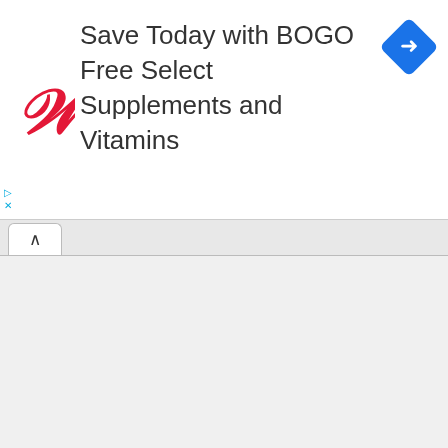[Figure (screenshot): Walgreens advertisement banner: 'Save Today with BOGO Free Select Supplements and Vitamins' with red Walgreens W logo and blue diamond navigation icon]
0.2 instead of by 2, as in the illustration below:
Missing image